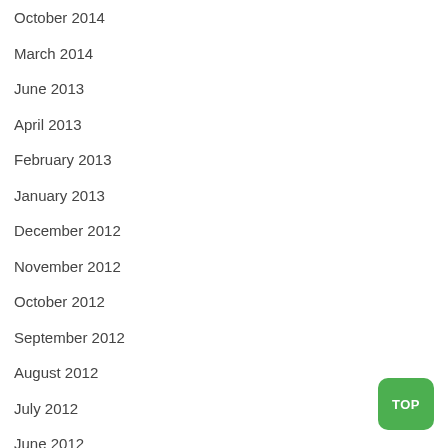October 2014
March 2014
June 2013
April 2013
February 2013
January 2013
December 2012
November 2012
October 2012
September 2012
August 2012
July 2012
June 2012